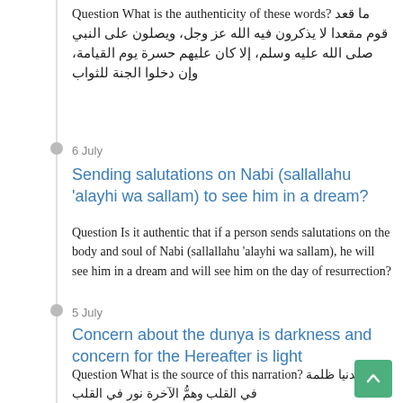Question What is the authenticity of these words? ما قعد قوم مقعدا لا يذكرون فيه الله عز وجل، ويصلون على النبي صلى الله عليه وسلم، إلا كان عليهم حسرة يوم القيامة، وإن دخلوا الجنة للثواب
6 July
Sending salutations on Nabi (sallallahu 'alayhi wa sallam) to see him in a dream?
Question Is it authentic that if a person sends salutations on the body and soul of Nabi (sallallahu 'alayhi wa sallam), he will see him in a dream and will see him on the day of resurrection?
5 July
Concern about the dunya is darkness and concern for the Hereafter is light
Question What is the source of this narration? همُّ الدنيا ظلمة في القلب وهمُّ الآخرة نور في القلب